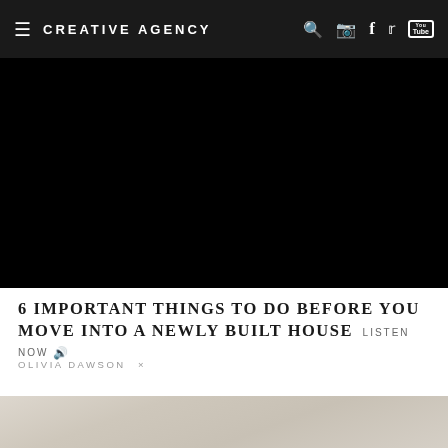CREATIVE AGENCY
[Figure (photo): Large black hero image area at top of article page]
6 IMPORTANT THINGS TO DO BEFORE YOU MOVE INTO A NEWLY BUILT HOUSE LISTEN NOW 🔊
OLIVIA DAWSON ×
[Figure (photo): Bottom strip showing partial image of a room or interior scene in light beige/cream tones]